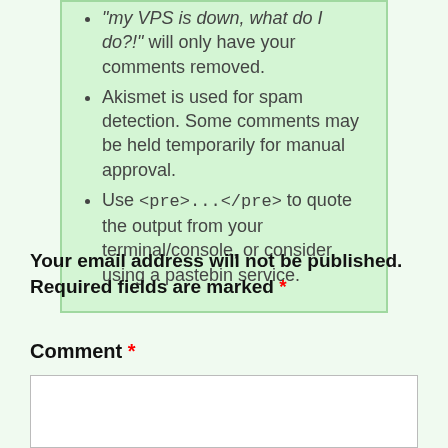"my VPS is down, what do I do?!" will only have your comments removed.
Akismet is used for spam detection. Some comments may be held temporarily for manual approval.
Use <pre>...</pre> to quote the output from your terminal/console, or consider using a pastebin service.
Your email address will not be published. Required fields are marked *
Comment *